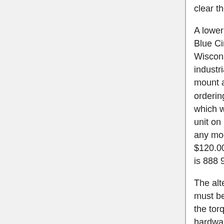clear the fan.
A lower cost unit of this type is made by Blue Circle Auto Electric in Grand View, Wisconsin based on a Delco small case industrial engine alternator with this type mount and an external regulator. Their ordering reference for a 100 Amp unit which will replace the original Motorola unit on Universal diesel engines without any modifications is M-7102-HD. Price is $120.00 plus S&H. The Blue Circle phone is 888 932-2423.
The alternator and water pump drive belt must be extremely heavy duty to withstand the torque of a high output alternator and a hardware store V-belt will last only hours. Get a high quality, heavy duty belt from an automotive store such as NAPA. A belt with notches on the inside is better than a smooth belt.